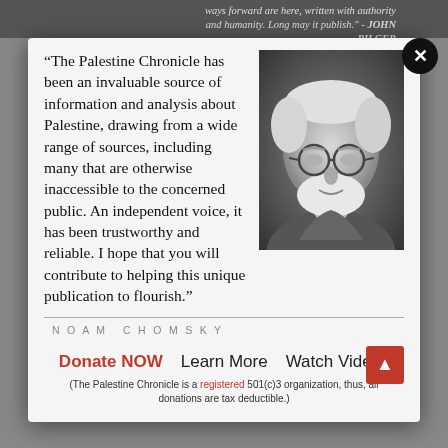ways forward are here, written with authority and humanity. Long may it publish." - JOHN PILGER
"The Palestine Chronicle has been an invaluable source of information and analysis about Palestine, drawing from a wide range of sources, including many that are otherwise inaccessible to the concerned public. An independent voice, it has been trustworthy and reliable. I hope that you will contribute to helping this unique publication to flourish."
[Figure (photo): Black and white portrait photograph of an elderly man with white hair, beard, and round glasses, looking at the camera.]
NOAM CHOMSKY
Donate NOW   Learn More   Watch Video
(The Palestine Chronicle is a registered 501(c)3 organization, thus, all donations are tax deductible.)